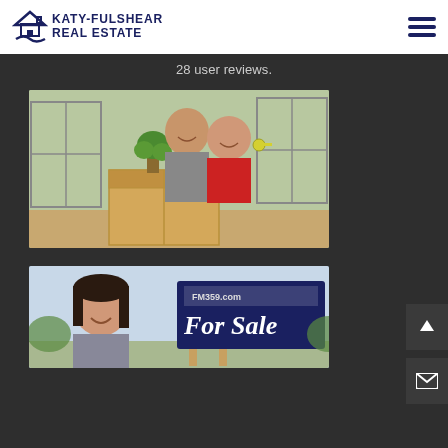KATY-FULSHEAR REAL ESTATE
28 user reviews.
[Figure (photo): A smiling couple holding house keys and a moving box inside a bright home with large windows]
[Figure (photo): A woman smiling in front of a For Sale sign outdoors]